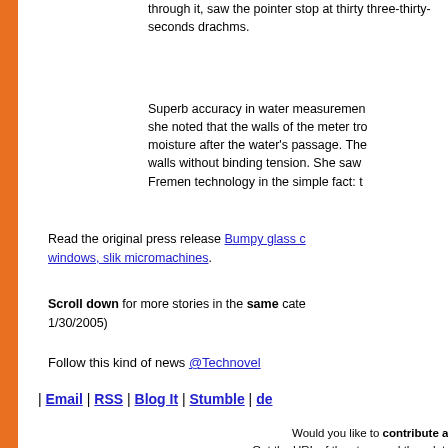through it, saw the pointer stop at thirty three-thirty-seconds drachms.
Superb accuracy in water measurement she noted that the walls of the meter tro moisture after the water's passage. The walls without binding tension. She saw Fremen technology in the simple fact: t
Read the original press release Bumpy glass c windows, slik micromachines.
Scroll down for more stories in the same cate 1/30/2005)
Follow this kind of news @Technovel
| Email | RSS | Blog It | Stumble | de
Would you like to contribute a s Get the URL of the story, and the related
Comment/Join discussion ( 1 )